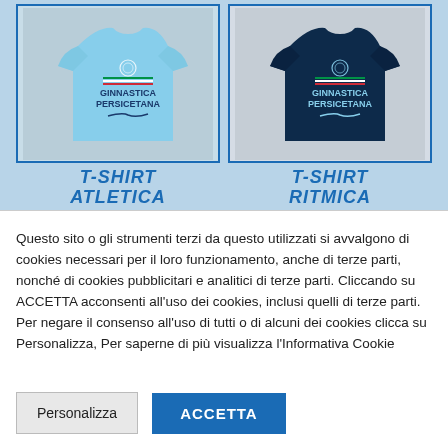[Figure (photo): Two t-shirts displayed side by side against a light blue background. Left shirt is light blue with 'GINNASTICA PERSICETANA' text and logo. Right shirt is dark navy with the same 'GINNASTICA PERSICETANA' text and logo.]
T-SHIRT ATLETICA
T-SHIRT RITMICA
Questo sito o gli strumenti terzi da questo utilizzati si avvalgono di cookies necessari per il loro funzionamento, anche di terze parti, nonché di cookies pubblicitari e analitici di terze parti. Cliccando su ACCETTA acconsenti all'uso dei cookies, inclusi quelli di terze parti. Per negare il consenso all'uso di tutti o di alcuni dei cookies clicca su Personalizza, Per saperne di più visualizza l'Informativa Cookie
Personalizza
ACCETTA